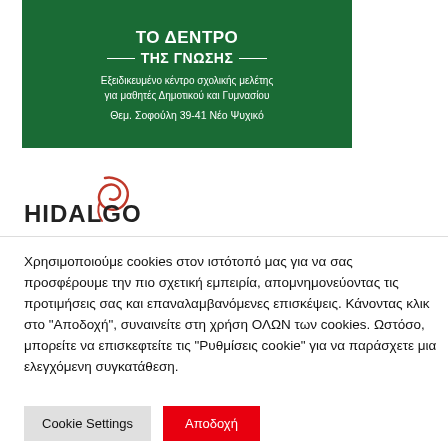[Figure (illustration): Green advertisement banner for 'ΤΟ ΔΕΝΤΡΟ ΤΗΣ ΓΝΩΣΗΣ' (The Tree of Knowledge), a specialized school study center for Elementary and High School students, located at Θεμ. Σοφούλη 39-41, Νέο Ψυχικό.]
[Figure (logo): HIDALGO logo with stylized red swirl graphic above the text.]
Χρησιμοποιούμε cookies στον ιστότοπό μας για να σας προσφέρουμε την πιο σχετική εμπειρία, απομνημονεύοντας τις προτιμήσεις σας και επαναλαμβανόμενες επισκέψεις. Κάνοντας κλικ στο "Αποδοχή", συναινείτε στη χρήση ΟΛΩΝ των cookies. Ωστόσο, μπορείτε να επισκεφτείτε τις "Ρυθμίσεις cookie" για να παράσχετε μια ελεγχόμενη συγκατάθεση.
Cookie Settings
Αποδοχή